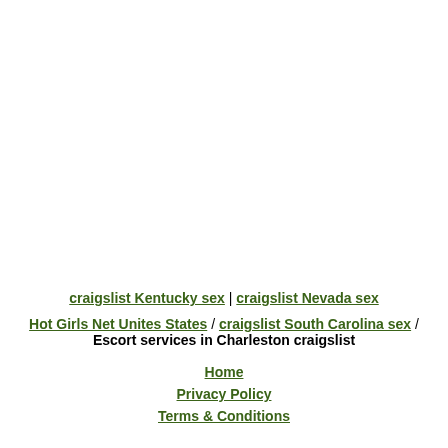craigslist Kentucky sex | craigslist Nevada sex
Hot Girls Net Unites States / craigslist South Carolina sex / Escort services in Charleston craigslist
Home
Privacy Policy
Terms & Conditions